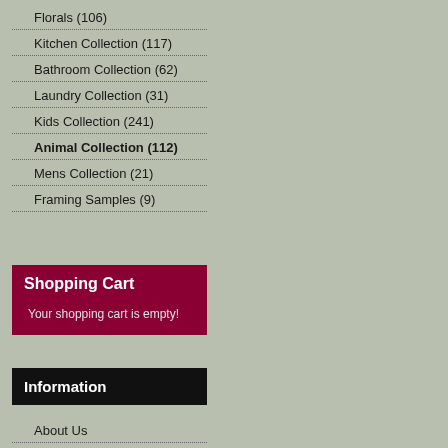Florals (106)
Kitchen Collection (117)
Bathroom Collection (62)
Laundry Collection (31)
Kids Collection (241)
Animal Collection (112)
Mens Collection (21)
Framing Samples (9)
Shopping Cart
Your shopping cart is empty!
Information
About Us
Privacy Policy